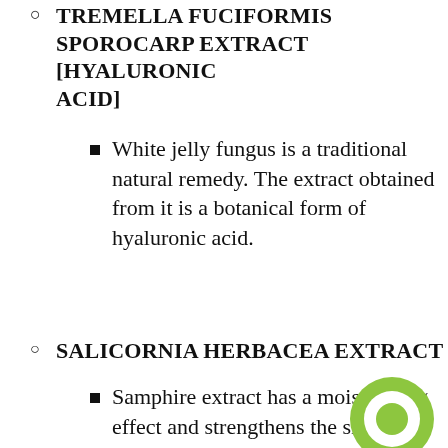TREMELLA FUCIFORMIS SPOROCARP EXTRACT [HYALURONIC ACID]
White jelly fungus is a traditional natural remedy. The extract obtained from it is a botanical form of hyaluronic acid.
SALICORNIA HERBACEA EXTRACT
Samphire extract has a moisturizing effect and strengthens the skin's protective